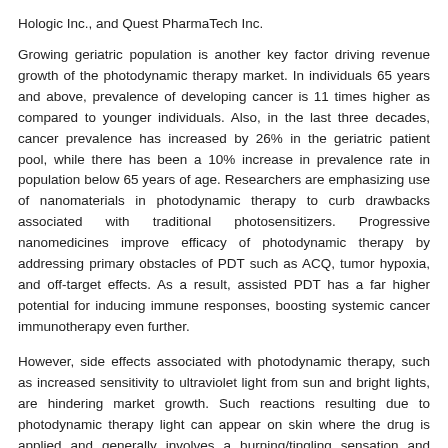Hologic Inc., and Quest PharmaTech Inc.
Growing geriatric population is another key factor driving revenue growth of the photodynamic therapy market. In individuals 65 years and above, prevalence of developing cancer is 11 times higher as compared to younger individuals. Also, in the last three decades, cancer prevalence has increased by 26% in the geriatric patient pool, while there has been a 10% increase in prevalence rate in population below 65 years of age. Researchers are emphasizing use of nanomaterials in photodynamic therapy to curb drawbacks associated with traditional photosensitizers. Progressive nanomedicines improve efficacy of photodynamic therapy by addressing primary obstacles of PDT such as ACQ, tumor hypoxia, and off-target effects. As a result, assisted PDT has a far higher potential for inducing immune responses, boosting systemic cancer immunotherapy even further.
However, side effects associated with photodynamic therapy, such as increased sensitivity to ultraviolet light from sun and bright lights, are hindering market growth. Such reactions resulting due to photodynamic therapy light can appear on skin where the drug is applied and generally involves a burning/tingling sensation and redness. Also, post-treatment, for a certain period of time patient need to be careful and should not get treated areas exposed to light, especially face and scalp.